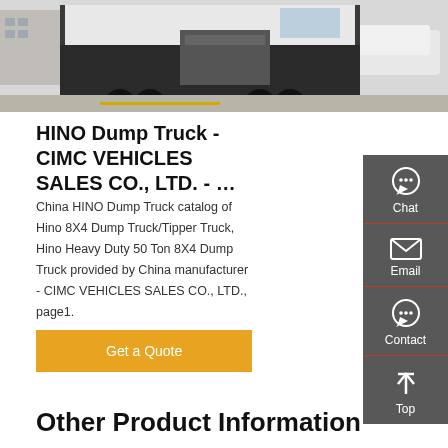[Figure (photo): Photograph of HINO dump truck/tractor unit parked on pavement, viewed from front-right angle, showing cab and wheel assembly]
HINO Dump Truck - CIMC VEHICLES SALES CO., LTD. - …
China HINO Dump Truck catalog of Hino 8X4 Dump Truck/Tipper Truck, Hino Heavy Duty 50 Ton 8X4 Dump Truck provided by China manufacturer - CIMC VEHICLES SALES CO., LTD., page1.
[Figure (other): Sidebar with Chat, Email, Contact, Top buttons on dark grey background]
Get a Quote
Other Product Information